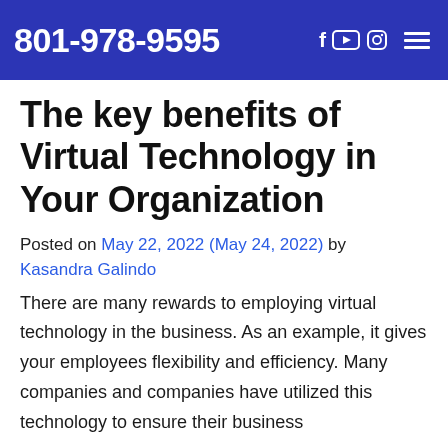801-978-9595
The key benefits of Virtual Technology in Your Organization
Posted on May 22, 2022 (May 24, 2022) by Kasandra Galindo
There are many rewards to employing virtual technology in the business. As an example, it gives your employees flexibility and efficiency. Many companies and companies have utilized this technology to ensure their business